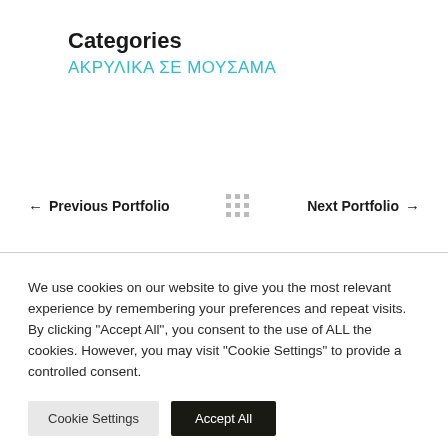Categories
ΑΚΡΥΛΙΚΑ ΣΕ ΜΟΥΣΑΜΑ
← Previous Portfolio  ··· Next Portfolio →
We use cookies on our website to give you the most relevant experience by remembering your preferences and repeat visits. By clicking "Accept All", you consent to the use of ALL the cookies. However, you may visit "Cookie Settings" to provide a controlled consent.
Cookie Settings  Accept All